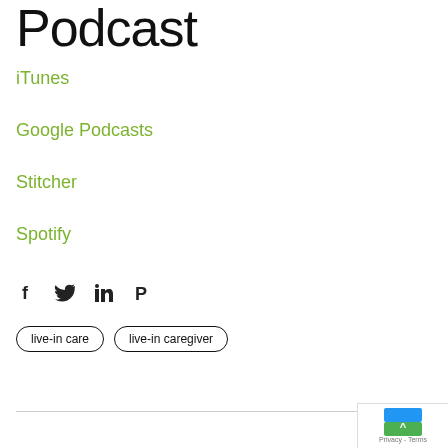Podcast
iTunes
Google Podcasts
Stitcher
Spotify
[Figure (infographic): Social media share icons: Facebook, Twitter, LinkedIn, Pinterest]
live-in care
live-in caregiver